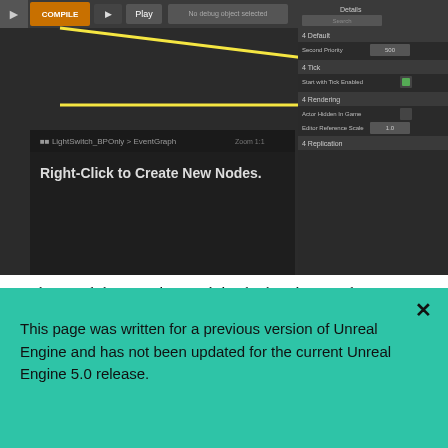[Figure (screenshot): Unreal Engine Blueprint editor screenshot showing EventGraph with 'Right-Click to Create New Nodes.' text, toolbar with Compile/Simulate/Play buttons, and a Details panel on the right. A yellow arrow points from the toolbar area to the Details panel.]
Blueprinted classes can be extended with other Blueprint Classes, either using the dropdown button next to the class in the Class Viewer to create a new Blueprint, or by Right-clicking on the Blueprint and selecting Create New Blueprint Based on This.
The Blueprint Class LightSwitch_BPOnly is in the Content Browser, and can be dragged into the level from there. It
This page was written for a previous version of Unreal Engine and has not been updated for the current Unreal Engine 5.0 release.